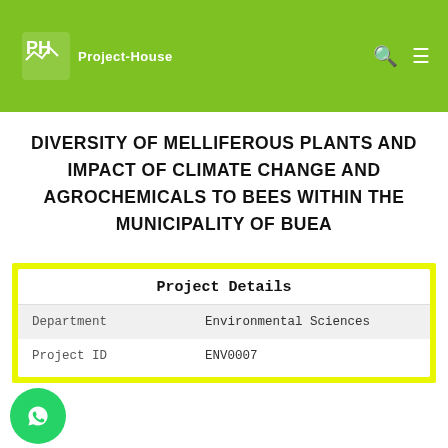Project-House
DIVERSITY OF MELLIFEROUS PLANTS AND IMPACT OF CLIMATE CHANGE AND AGROCHEMICALS TO BEES WITHIN THE MUNICIPALITY OF BUEA
| Field | Value |
| --- | --- |
| Department | Environmental Sciences |
| Project ID | ENV0007 |